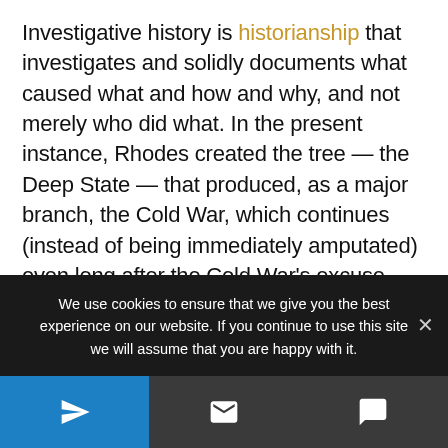Investigative history is historianship that investigates and solidly documents what caused what and how and why, and not merely who did what. In the present instance, Rhodes created the tree — the Deep State — that produced, as a major branch, the Cold War, which continues (instead of being immediately amputated) even long after the Cold War's excuse, Soviet communism, ended in 1991. Whereas traditional historianship is part of the humanities, investigative historianship is the most
We use cookies to ensure that we give you the best experience on our website. If you continue to use this site we will assume that you are happy with it.